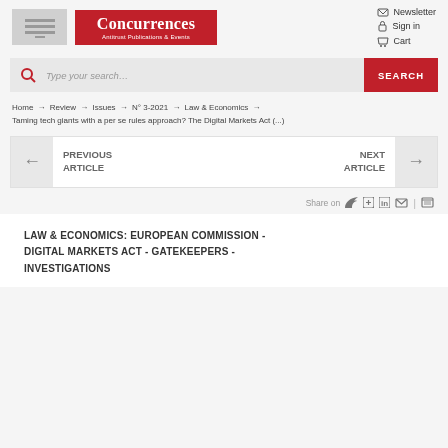[Figure (logo): Concurrences Antitrust Publications & Events logo with grey placeholder icon on left and red branded wordmark on right]
Newsletter  Sign in  Cart
[Figure (screenshot): Search bar with magnifying glass icon, placeholder text 'Type your search...' and red SEARCH button]
Home → Review → Issues → N° 3-2021 → Law & Economics → Taming tech giants with a per se rules approach? The Digital Markets Act (...)
← PREVIOUS ARTICLE    NEXT ARTICLE →
Share on
LAW & ECONOMICS: EUROPEAN COMMISSION - DIGITAL MARKETS ACT - GATEKEEPERS - INVESTIGATIONS